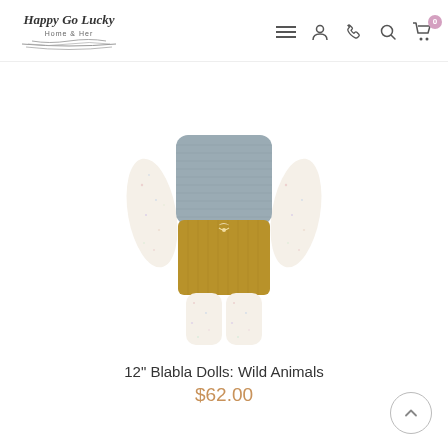Happy Go Lucky Home & Her — navigation header with logo and icons
[Figure (photo): A knitted stuffed animal doll body (headless) wearing a grey knit top, golden/mustard corduroy shorts with a cream bow tie, and cream speckled knit arms and legs. The doll has no head visible in this product shot.]
12" Blabla Dolls: Wild Animals
$62.00